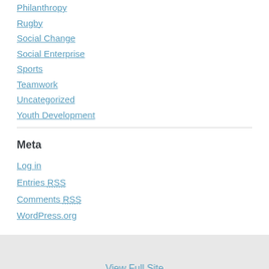Philanthropy
Rugby
Social Change
Social Enterprise
Sports
Teamwork
Uncategorized
Youth Development
Meta
Log in
Entries RSS
Comments RSS
WordPress.org
View Full Site
Proudly powered by WordPress